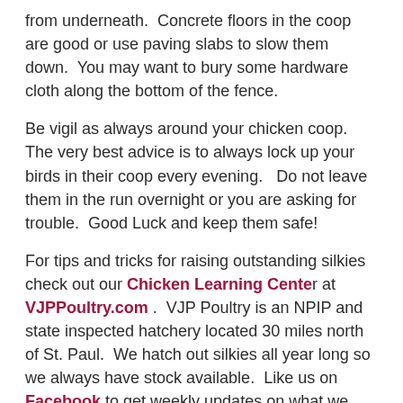from underneath.  Concrete floors in the coop are good or use paving slabs to slow them down.  You may want to bury some hardware cloth along the bottom of the fence.
Be vigil as always around your chicken coop.  The very best advice is to always lock up your birds in their coop every evening.   Do not leave them in the run overnight or you are asking for trouble.  Good Luck and keep them safe!
For tips and tricks for raising outstanding silkies check out our Chicken Learning Center at VJPPoultry.com .  VJP Poultry is an NPIP and state inspected hatchery located 30 miles north of St. Paul.  We hatch out silkies all year long so we always have stock available.  Like us on Facebook to get weekly updates on what we currently have for sale.